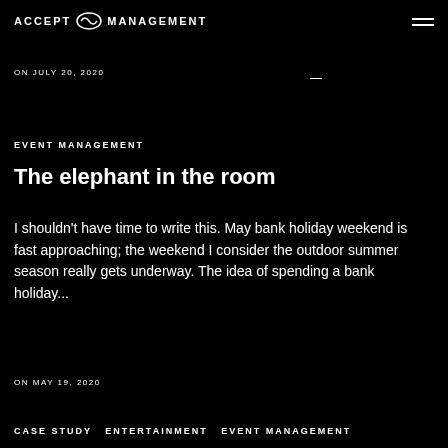ACCEPT MANAGEMENT
ON JULY 20, 2020
EVENT MANAGEMENT
The elephant in the room
I shouldn't have time to write this. May bank holiday weekend is fast approaching; the weekend I consider the outdoor summer season really gets underway. The idea of spending a bank holiday...
ON MAY 19, 2020
CASE STUDY  ENTERTAINMENT  EVENT MANAGEMENT